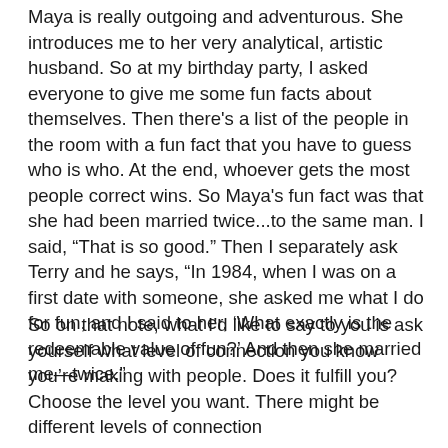Maya is really outgoing and adventurous. She introduces me to her very analytical, artistic husband. So at my birthday party, I asked everyone to give me some fun facts about themselves. Then there's a list of the people in the room with a fun fact that you have to guess who is who. At the end, whoever gets the most people correct wins. So Maya's fun fact was that she had been married twice...to the same man. I said, “That is so good.” Then I separately ask Terry and he says, “In 1984, when I was on a first date with someone, she asked me what I do for fun, and I said to her, ‘What exactly is the redeemable value of fun?’ And then she married me—twice.”
So on that note, what I’d like to say to you is ask yourself what level of connection you know you’re making with people. Does it fulfill you? Choose the level you want. There might be different levels of connection